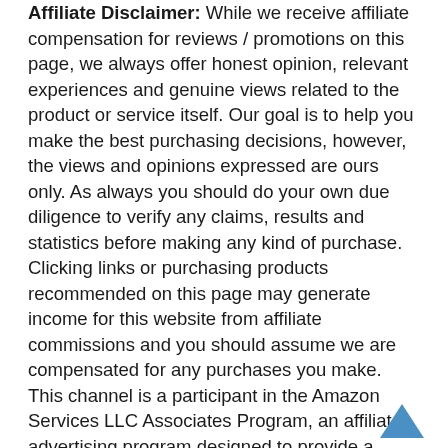Affiliate Disclaimer: While we receive affiliate compensation for reviews / promotions on this page, we always offer honest opinion, relevant experiences and genuine views related to the product or service itself. Our goal is to help you make the best purchasing decisions, however, the views and opinions expressed are ours only. As always you should do your own due diligence to verify any claims, results and statistics before making any kind of purchase. Clicking links or purchasing products recommended on this page may generate income for this website from affiliate commissions and you should assume we are compensated for any purchases you make. This channel is a participant in the Amazon Services LLC Associates Program, an affiliate advertising program designed to provide a means for website owners to earn advertising fees by advertising and linking to amazon.com, audible.com, and any other website that may be affiliated with Amazon Service LLC Associates Program.